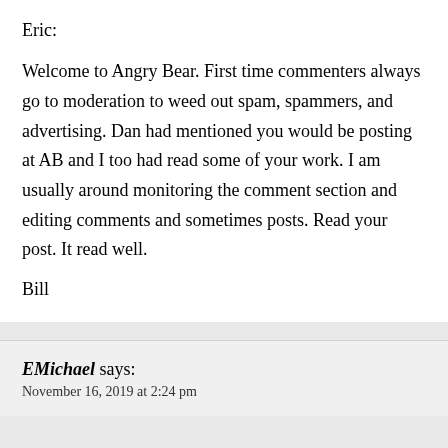Eric:
Welcome to Angry Bear. First time commenters always go to moderation to weed out spam, spammers, and advertising. Dan had mentioned you would be posting at AB and I too had read some of your work. I am usually around monitoring the comment section and editing comments and sometimes posts. Read your post. It read well.
Bill
EMichael says:
November 16, 2019 at 2:24 pm